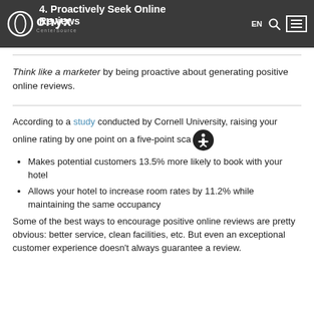Onyx CenterSource — EN | Search | Menu
4. Proactively Seek Online Reviews
Think like a marketer by being proactive about generating positive online reviews.
According to a study conducted by Cornell University, raising your online rating by one point on a five-point scale
Makes potential customers 13.5% more likely to book with your hotel
Allows your hotel to increase room rates by 11.2% while maintaining the same occupancy
Some of the best ways to encourage positive online reviews are pretty obvious: better service, clean facilities, etc. But even an exceptional customer experience doesn't always guarantee a review.